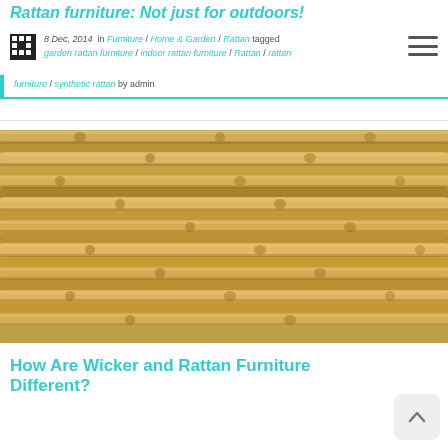Rattan furniture: Not just for outdoors!
8 Dec, 2014  in Furniture / Home & Garden / Rattan tagged garden rattan furniture / indoor rattan furniture / Rattan / rattan furniture / synthetic rattan by admin
[Figure (photo): Close-up photograph of bundled rattan canes/reeds arranged horizontally, showing natural tan and golden-brown colors with visible nodes and texture.]
How Are Wicker and Rattan Furniture Different?